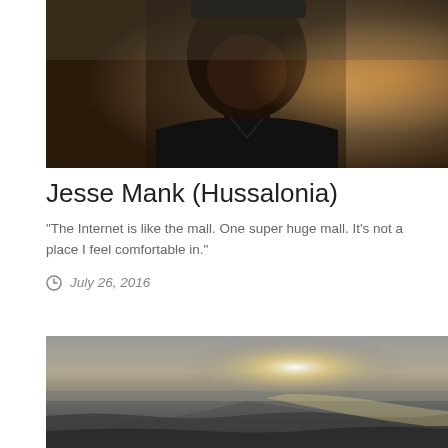[Figure (photo): Portrait photograph of a man wearing a black v-neck t-shirt and dark cap, photographed against a warm amber-lit background]
Jesse Mank (Hussalonia)
“The Internet is like the mall. One super huge mall. It’s not a place I feel comfortable in.”
July 26, 2016
[Figure (photo): Monochrome photograph of ocean waves with bright sun glare reflecting on the water surface, hazy sky in background]